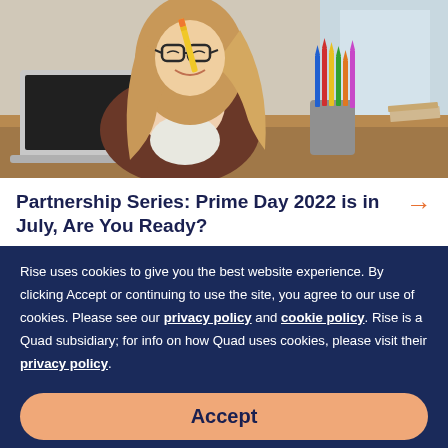[Figure (photo): A young woman with long hair smiling and biting a pencil, sitting in front of a laptop with colorful pencils in a cup beside her]
Partnership Series: Prime Day 2022 is in July, Are You Ready?
Rise uses cookies to give you the best website experience. By clicking Accept or continuing to use the site, you agree to our use of cookies. Please see our privacy policy and cookie policy. Rise is a Quad subsidiary; for info on how Quad uses cookies, please visit their privacy policy.
Accept